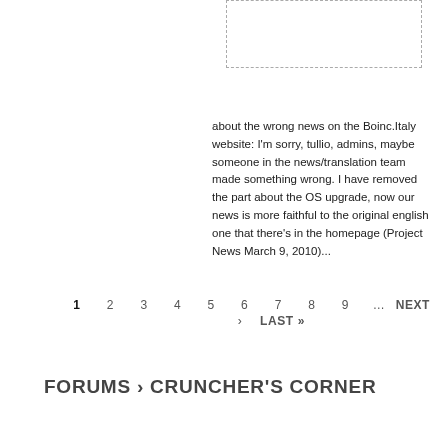[Figure (other): Dashed border image placeholder box at top right]
about the wrong news on the Boinc.Italy website: I'm sorry, tullio, admins, maybe someone in the news/translation team made something wrong. I have removed the part about the OS upgrade, now our news is more faithful to the original english one that there's in the homepage (Project News March 9, 2010)...
1 2 3 4 5 › 6 7 8 9 … NEXT LAST »
FORUMS › CRUNCHER'S CORNER